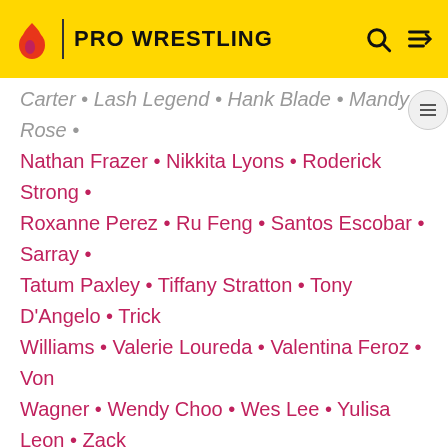PRO WRESTLING
Carter • Lash Legend • Hank Blade • Mandy Rose • Nathan Frazer • Nikkita Lyons • Roderick Strong • Roxanne Perez • Ru Feng • Santos Escobar • Sarray • Tatum Paxley • Tiffany Stratton • Tony D'Angelo • Trick Williams • Valerie Loureda • Valentina Feroz • Von Wagner • Wendy Choo • Wes Lee • Yulisa Leon • Zack Gibson • Zoey Stark
NXT UK
Aleah James • Aoife Valkyrie • Bailey Matthews • Blair Davenport • Ilja Dragunov • Isla Dawn • Jinny • Joe Coffey • Joseph Conners • Jordan Devlin • Mark Coffey • Meiko Satomura • Noam Dar • Tyler Bate • Wolfgang
Stables & Tag Teams